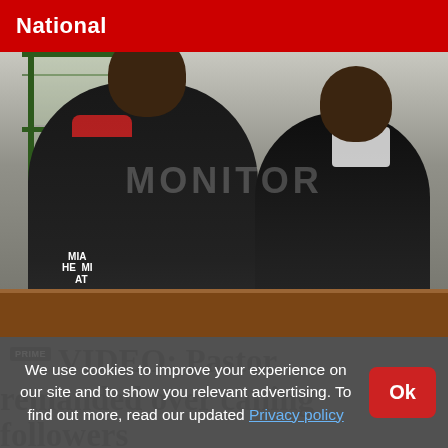National
[Figure (photo): Two men seated at a wooden desk, appearing to be in a courtroom or hearing room, with green-framed windows behind them. Left man wears a Miami Heat jersey; right man wears a black leather jacket. A 'MONITOR' watermark is visible across the image.]
PRIME VIDEO: Pastor remanded over caning followers
We use cookies to improve your experience on our site and to show you relevant advertising. To find out more, read our updated Privacy policy